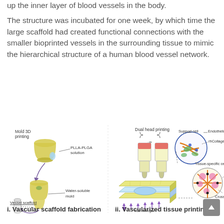up the inner layer of blood vessels in the body.

The structure was incubated for one week, by which time the large scaffold had created functional connections with the smaller bioprinted vessels in the surrounding tissue to mimic the hierarchical structure of a human blood vessel network.
[Figure (schematic): Two-panel scientific diagram. Left panel (i): Vascular scaffold fabrication showing mold 3D printing step with PLLA-PLGA solution, water-soluble mold, and resulting vessel scaffold (a tube). Right panel (ii): Vascularized tissue printing showing dual head printing with pressure P applied to two syringes containing bioink, producing a layered tissue construct illuminated by 405 nm light from below. Inset circles show support cell and endothelial cell microstructure with rhCollagen, and tissue-specific cell cross-link details.]
i. Vascular scaffold fabrication
ii. Vascularized tissue printing